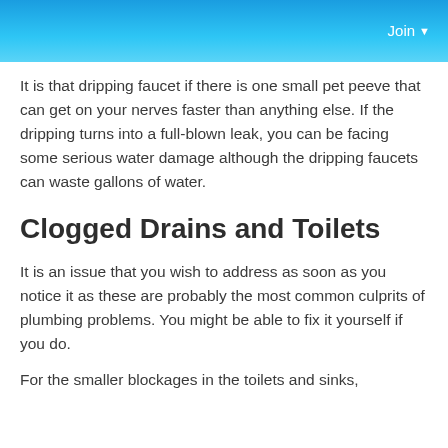Join
It is that dripping faucet if there is one small pet peeve that can get on your nerves faster than anything else. If the dripping turns into a full-blown leak, you can be facing some serious water damage although the dripping faucets can waste gallons of water.
Clogged Drains and Toilets
It is an issue that you wish to address as soon as you notice it as these are probably the most common culprits of plumbing problems. You might be able to fix it yourself if you do.
For the smaller blockages in the toilets and sinks,